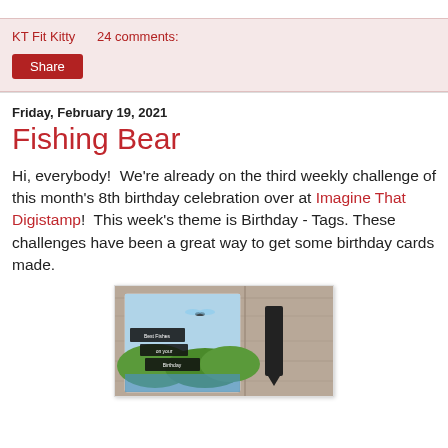KT Fit Kitty    24 comments:
Share
Friday, February 19, 2021
Fishing Bear
Hi, everybody!  We're already on the third weekly challenge of this month's 8th birthday celebration over at Imagine That Digistamp!  This week's theme is Birthday - Tags. These challenges have been a great way to get some birthday cards made.
[Figure (photo): A handmade birthday card with a fishing/nature theme, showing a dragonfly and green hills with text reading 'Best Fishes on your Birthday', displayed on a wooden background.]